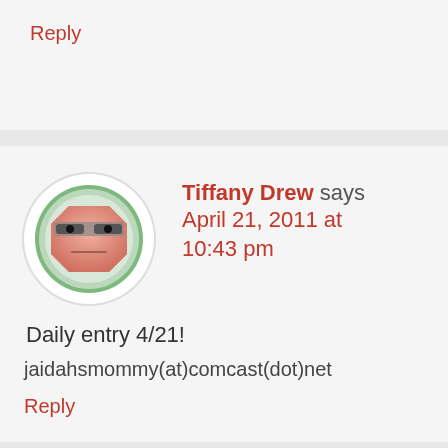Reply
[Figure (illustration): Cartoon avatar of a grumpy hexagon face with glasses on a green circular background]
Tiffany Drew says April 21, 2011 at 10:43 pm
Daily entry 4/21!
jaidahsmommy(at)comcast(dot)net
Reply